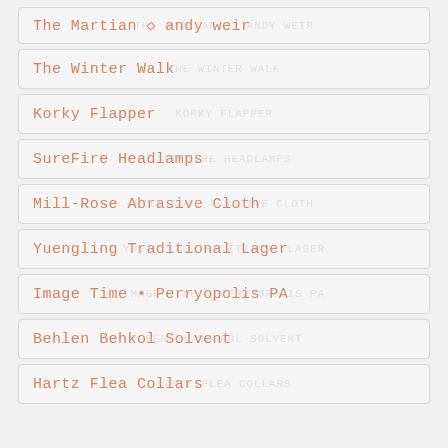The Martian ◇ andy weir
The Winter Walk
Korky Flapper
SureFire Headlamps
Mill-Rose Abrasive Cloth
Yuengling Traditional Lager
Image Time • Perryopolis PA
Behlen Behkol Solvent
Hartz Flea Collars